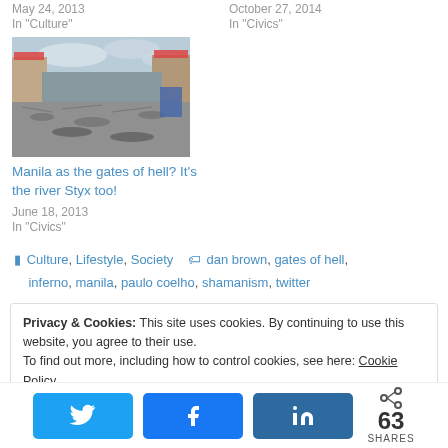May 24, 2013
In "Culture"
October 27, 2014
In "Civics"
[Figure (photo): Street scene in Manila showing a debris-filled road with buildings and red roof structures visible]
Manila as the gates of hell? It’s the river Styx too!
June 18, 2013
In "Civics"
Culture, Lifestyle, Society   dan brown, gates of hell, inferno, manila, paulo coelho, shamanism, twitter
Privacy & Cookies: This site uses cookies. By continuing to use this website, you agree to their use.
To find out more, including how to control cookies, see here: Cookie Policy
63 SHARES